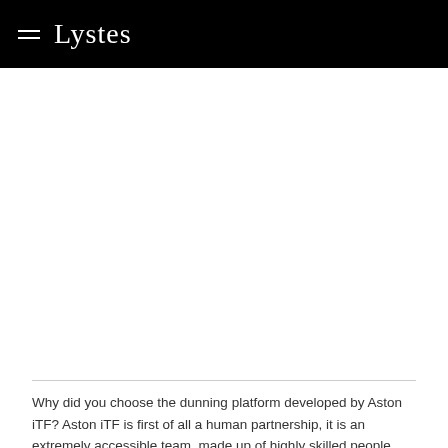Lystes
Why did you choose the dunning platform developed by Aston iTF? Aston iTF is first of all a human partnership, it is an extremely accessible team, made up of highly skilled people. Highly skilled people but also very